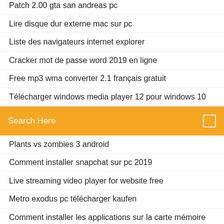Patch 2.00 gta san andreas pc
Lire disque dur externe mac sur pc
Liste des navigateurs internet explorer
Cracker mot de passe word 2019 en ligne
Free mp3 wma converter 2.1 français gratuit
Télécharger windows media player 12 pour windows 10
[Figure (screenshot): Orange search bar with text 'Search Here' and a small square icon on the right]
Plants vs zombies 3 android
Comment installer snapchat sur pc 2019
Live streaming video player for website free
Metro exodus pc télécharger kaufen
Comment installer les applications sur la carte mémoire
Convertir blu ray en mp4 gratuit
Logiciel pour redemarrer tablette samsung
Supprimer les suggestions amis facebook
Telecharger jeux de voiture traffic racer
Avidemux batch convert avi to mp4